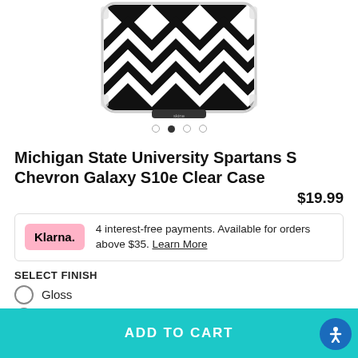[Figure (photo): Product photo of a smartphone case with black and white chevron zigzag pattern, shown at top of page, cropped]
Michigan State University Spartans S Chevron Galaxy S10e Clear Case
$19.99
4 interest-free payments. Available for orders above $35. Learn More
SELECT FINISH
Gloss
Matte
Carbon (+$0.00)
ADD TO CART